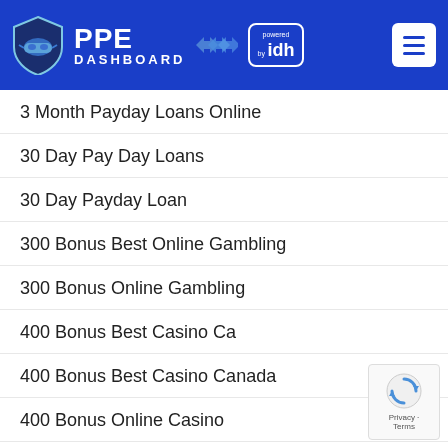[Figure (logo): PPE Dashboard logo with shield icon and 'powered by idh' badge, on blue header background with hamburger menu]
3 Month Payday Loans Online
30 Day Pay Day Loans
30 Day Payday Loan
300 Bonus Best Online Gambling
300 Bonus Online Gambling
400 Bonus Best Casino Ca
400 Bonus Best Casino Canada
400 Bonus Online Casino
420 Dating Mobile Site